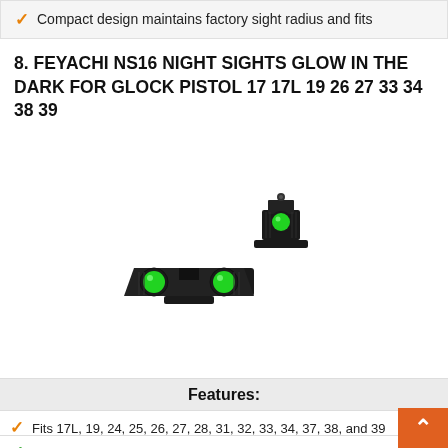Compact design maintains factory sight radius and fits
8. FEYACHI NS16 NIGHT SIGHTS GLOW IN THE DARK FOR GLOCK PISTOL 17 17L 19 26 27 33 34 38 39
[Figure (photo): Product photo of FEYACHI NS16 night sights for Glock pistol — front and rear sights with glowing green tritium dots on black metal housing, shown on white background.]
Buy on Amazon
Features:
Fits 17L, 19, 24, 25, 26, 27, 28, 31, 32, 33, 34, 37, 38, and 39
Features three green dots and Glow IN the Dark. NO